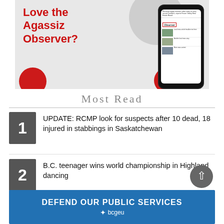[Figure (photo): Advertisement for Agassiz Observer newspaper app showing text 'Love the Agassiz Observer?' with a smartphone displaying the Observer app, on a grey background with red accent circles]
Most Read
1. UPDATE: RCMP look for suspects after 10 dead, 18 injured in stabbings in Saskatchewan
2. B.C. teenager wins world championship in Highland dancing
[Figure (infographic): BCGEU advertisement banner: DEFEND OUR PUBLIC SERVICES with bcgeu logo]